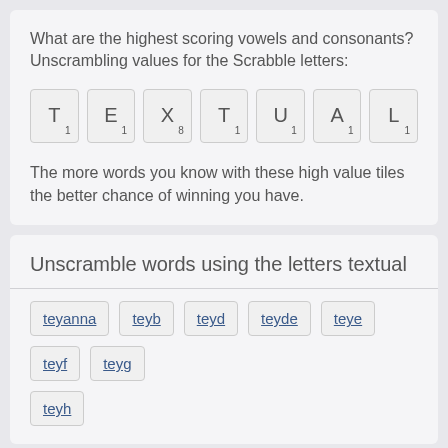What are the highest scoring vowels and consonants? Unscrambling values for the Scrabble letters:
[Figure (other): Seven Scrabble letter tiles: T1, E1, X8, T1, U1, A1, L1]
The more words you know with these high value tiles the better chance of winning you have.
Unscramble words using the letters textual
teyanna
teyb
teyd
teyde
teye
teyf
teyg
teyh